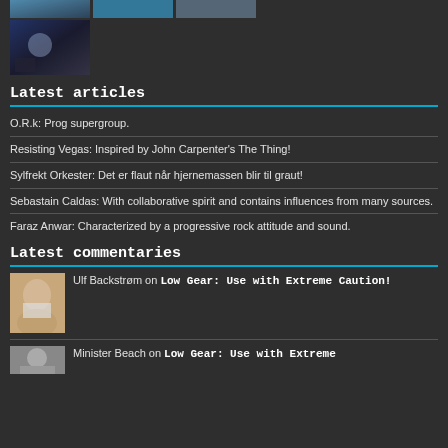[Figure (photo): Row of three small thumbnail images at top of page]
[Figure (photo): Single taller thumbnail image, dark blue tones with light effect]
Latest articles
O.R.k: Prog supergroup.
Resisting Vegas: Inspired by John Carpenter's The Thing!
Sylfrekt Orkester: Det er flaut når hjernemassen blir til graut!
Sebastain Caldas: With collaborative spirit and contains influences from many sources.
Faraz Anwar: Characterized by a progressive rock attitude and sound.
Latest commentaries
Ulf Backstrøm on Low Gear: Use with Extreme Caution!
Minister Beach on Low Gear: Use with Extreme